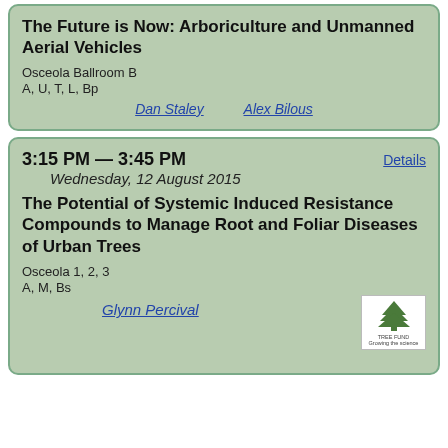The Future is Now: Arboriculture and Unmanned Aerial Vehicles
Osceola Ballroom B
A, U, T, L, Bp
Dan Staley   Alex Bilous
3:15 PM — 3:45 PM
Wednesday, 12 August 2015
Details
The Potential of Systemic Induced Resistance Compounds to Manage Root and Foliar Diseases of Urban Trees
Osceola 1, 2, 3
A, M, Bs
Glynn Percival
[Figure (logo): Tree Fund logo: green tree illustration with 'TREE FUND' text and tagline]